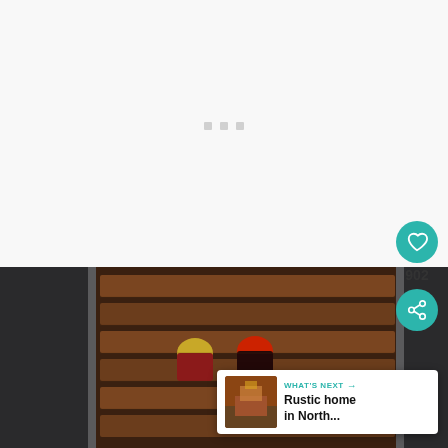[Figure (screenshot): White loading/placeholder area with three small grey dots indicating a loading carousel or image slideshow]
[Figure (photo): Close-up photo of a wine rack with dark metal frame and wooden shelves, holding wine bottles including one with a gold foil cap and one with a red label]
[Figure (infographic): UI overlay: teal circular heart/like button showing 902 likes, teal circular share button, and a 'What's Next' card showing 'Rustic home in North...' with thumbnail image]